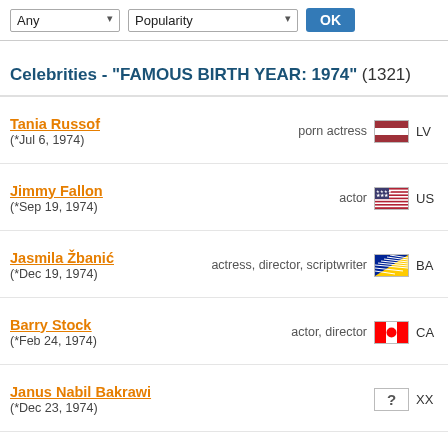Any | Popularity | OK
Celebrities - "FAMOUS BIRTH YEAR: 1974" (1321)
Tania Russof (*Jul 6, 1974) — porn actress — LV
Jimmy Fallon (*Sep 19, 1974) — actor — US
Jasmila Žbanić (*Dec 19, 1974) — actress, director, scriptwriter — BA
Barry Stock (*Feb 24, 1974) — actor, director — CA
Janus Nabil Bakrawi (*Dec 23, 1974) — XX
John Hopkins (*May 3, 1974) — actor — GB
Filip Čapka (*1974) — actor — CZ
Jay Cutler